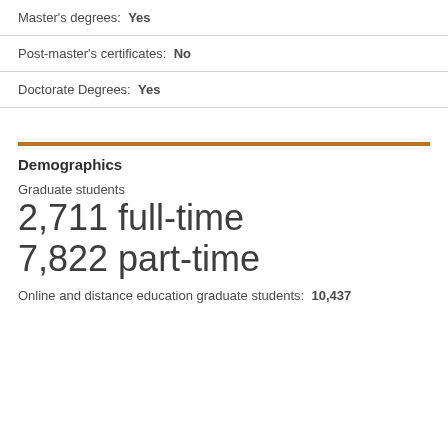Master's degrees: Yes
Post-master's certificates: No
Doctorate Degrees: Yes
Demographics
Graduate students
2,711 full-time
7,822 part-time
Online and distance education graduate students: 10,437